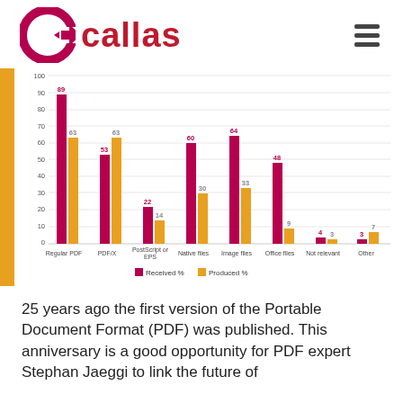[Figure (logo): Callas software logo with C icon and red wordmark 'callas', plus hamburger menu icon]
[Figure (grouped-bar-chart): ]
25 years ago the first version of the Portable Document Format (PDF) was published. This anniversary is a good opportunity for PDF expert Stephan Jaeggi to link the future of